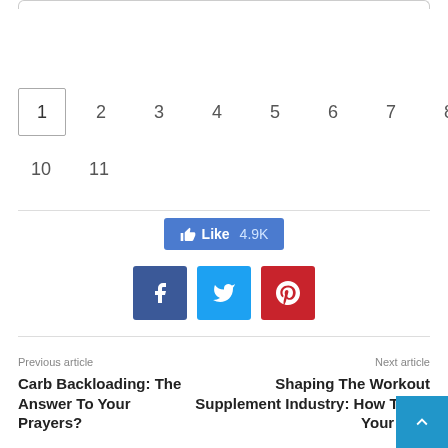[Figure (other): Pagination navigation with numbers 1-11, where 1 is highlighted with a border box]
[Figure (other): Facebook Like button showing 4.9K likes, and three social share buttons: Facebook (dark blue), Twitter (light blue), Pinterest (red)]
Previous article
Carb Backloading: The Answer To Your Prayers?
Next article
Shaping The Workout Supplement Industry: How To Be Your Be...